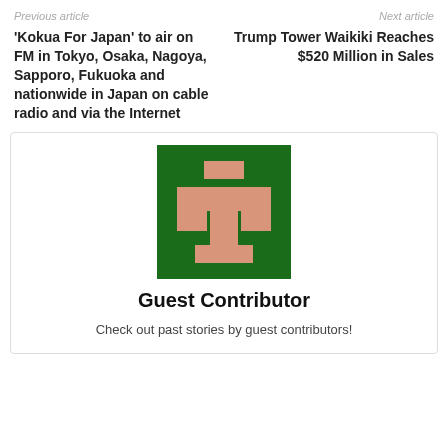Previous article | Next article
‘Kokua For Japan’ to air on FM in Tokyo, Osaka, Nagoya, Sapporo, Fukuoka and nationwide in Japan on cable radio and via the Internet
Trump Tower Waikiki Reaches $520 Million in Sales
[Figure (illustration): Pixel-art style avatar on dark green background with pink/salmon colored character shape]
Guest Contributor
Check out past stories by guest contributors!